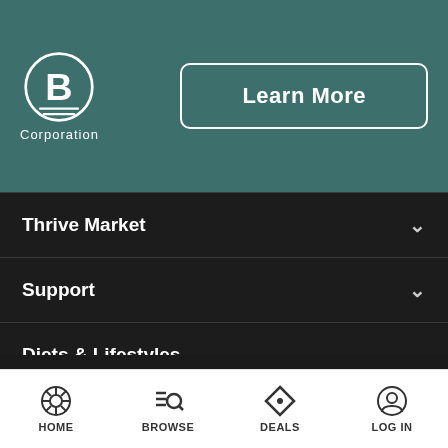[Figure (logo): B Corporation certified logo - circle with B inside, two horizontal lines below, text Corporation underneath]
Learn More
Thrive Market
Support
Diets & Lifestyles
Shop by Category
[Figure (logo): Payment method logos: American Express, Discover, MasterCard, PayPal, Visa]
HOME   BROWSE   DEALS   LOG IN